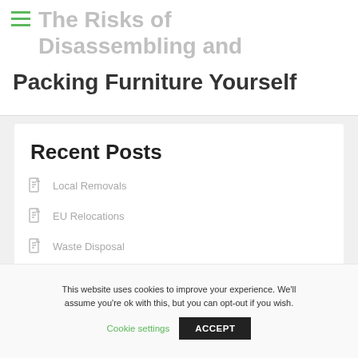The Risks of Disassembling and Packing Furniture Yourself
Recent Posts
Local Removals
EU Relocations
Waste Disposal
This website uses cookies to improve your experience. We'll assume you're ok with this, but you can opt-out if you wish.
Cookie settings  ACCEPT